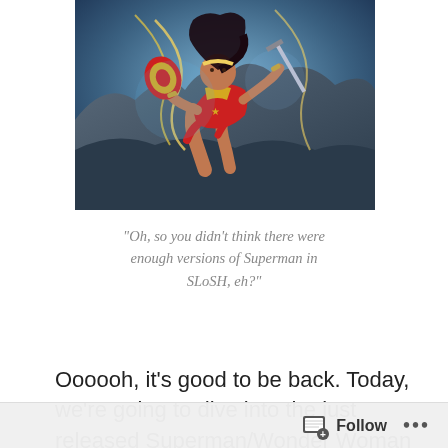[Figure (illustration): Comic book illustration of Wonder Woman in action pose, wearing red and gold armor, holding a sword and shield, with dynamic background of rocks and blue energy/lightning effects.]
“Oh, so you didn’t think there were enough versions of Superman in SLoSH, eh?”
Oooooh, it’s good to be back. Today, we’re going to dive into the just released Superman/Wonder Woman DC Heroclix set! We haven't seen much from the DC side of things in a little while (even for a huge Avengers fan like myself, this summer featured perhaps a bit too much face time for the ever-assembling heroes), but that’s